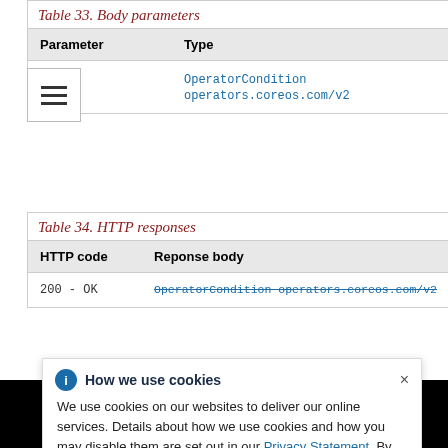Table 33. Body parameters
| Parameter | Type |
| --- | --- |
| body | OperatorCondition operators.coreos.com/v2 |
Table 34. HTTP responses
| HTTP code | Reponse body |
| --- | --- |
| 200 - OK | OperatorCondition operators.coreos.com/v2 |
How we use cookies

We use cookies on our websites to deliver our online services. Details about how we use cookies and how you may disable them are set out in our Privacy Statement. By using this website you agree to our use of cookies.
Cookie Preferences